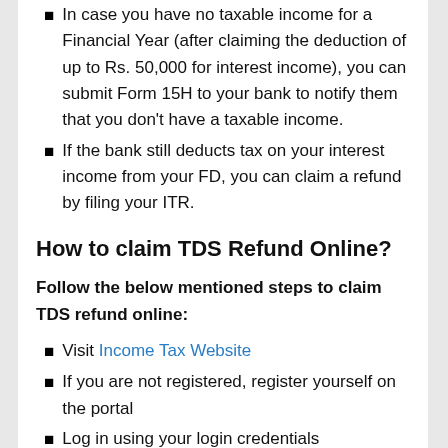In case you have no taxable income for a Financial Year (after claiming the deduction of up to Rs. 50,000 for interest income), you can submit Form 15H to your bank to notify them that you don't have a taxable income.
If the bank still deducts tax on your interest income from your FD, you can claim a refund by filing your ITR.
How to claim TDS Refund Online?
Follow the below mentioned steps to claim TDS refund online:
Visit Income Tax Website
If you are not registered, register yourself on the portal
Log in using your login credentials
File your income tax return by downloading the relevant ITR form
Fill in the requisite details, upload the form and click on submit